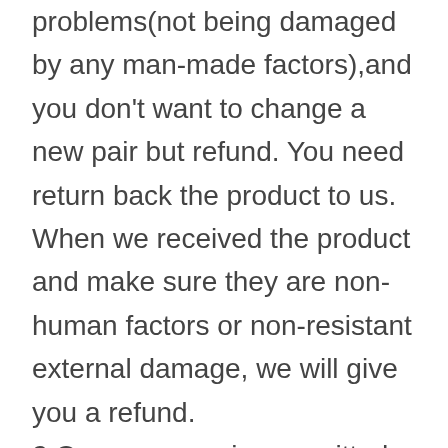problems(not being damaged by any man-made factors),and you don't want to change a new pair but refund. You need return back the product to us. When we received the product and make sure they are non-human factors or non-resistant external damage, we will give you a refund. 2.Our company is committed to providing exceptional customer service and quality products. We endeavor to ensure that all products listed on our website are currently in stock and pricing is true and correct. In the unlikely event that an item ordered is not